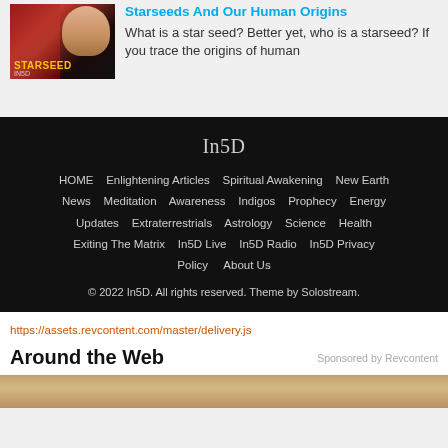[Figure (photo): Thumbnail image with STARSEED text label over dark red/black background with a face visible]
Starseeds And Our Human Origins
What is a star seed?  Better yet, who is a starseed?  If you trace the origins of human
In5D
HOME   Enlightening Articles   Spiritual Awakening   New Earth News   Meditation   Awareness   Indigos   Prophecy   Energy Updates   Extraterrestrials   Astrology   Science   Health   Exiting The Matrix   In5D Live   In5D Radio   In5D Privacy Policy   About Us
© 2022 In5D. All rights reserved. Theme by Solostream.
https://assets.revcontent.com/master/delivery.js
Around the Web
Sponsored by Revcontent
[Figure (photo): Bottom image strip, partial view of a photo]